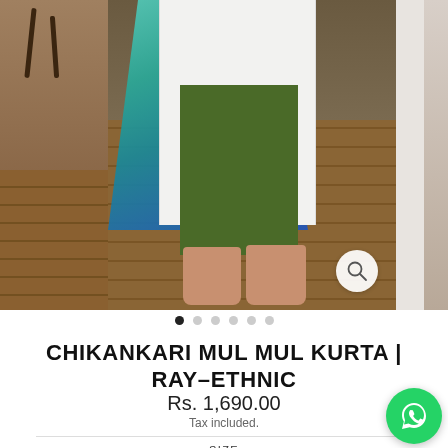[Figure (photo): Fashion product photo showing a woman wearing a white Chikankari Mul Mul Kurta with green pants and teal dupatta, standing on a wooden floor. Partial views of adjacent product images visible on left and right edges. Magnify icon in bottom-right of main image.]
CHIKANKARI MUL MUL KURTA | RAY-ETHNIC
Rs. 1,690.00
Tax included.
SIZE
XS
S
M
L
XL